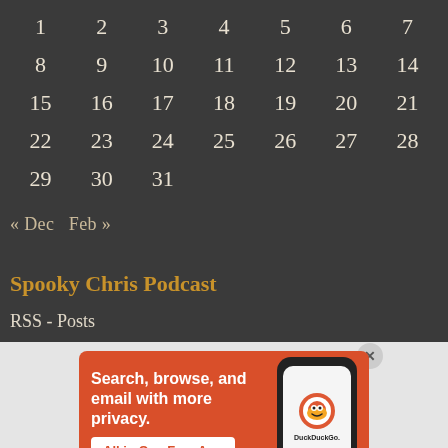| 1 | 2 | 3 | 4 | 5 | 6 | 7 |
| 8 | 9 | 10 | 11 | 12 | 13 | 14 |
| 15 | 16 | 17 | 18 | 19 | 20 | 21 |
| 22 | 23 | 24 | 25 | 26 | 27 | 28 |
| 29 | 30 | 31 |  |  |  |  |
« Dec   Feb »
Spooky Chris Podcast
RSS - Posts
[Figure (illustration): DuckDuckGo advertisement banner: orange background with white text 'Search, browse, and email with more privacy.' and button 'All in One Free App' with a phone showing the DuckDuckGo app icon and logo.]